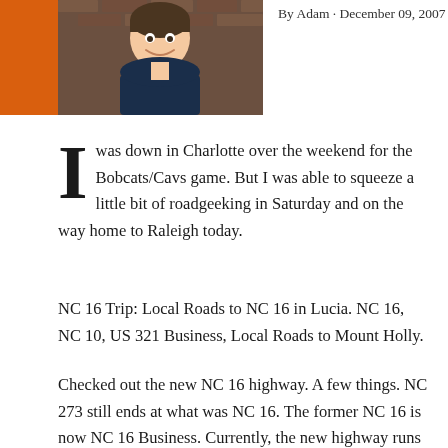[Figure (photo): Author headshot photo showing a young man in a dark blue polo shirt, smiling, with a brick wall background. Orange bar on left side.]
By Adam · December 09, 2007
I was down in Charlotte over the weekend for the Bobcats/Cavs game. But I was able to squeeze a little bit of roadgeeking in Saturday and on the way home to Raleigh today.
NC 16 Trip: Local Roads to NC 16 in Lucia. NC 16, NC 10, US 321 Business, Local Roads to Mount Holly.
Checked out the new NC 16 highway. A few things. NC 273 still ends at what was NC 16. The former NC 16 is now NC 16 Business. Currently, the new highway runs to an interchange with NC 73. It is posted at 55 mph and although there were no at grade intersection on the new